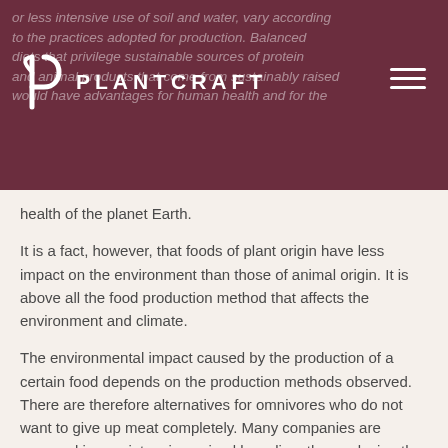PLANTCRAFT
or less intensive use of soil and water, vary according to the practices adopted for production. Balanced diets that privilege sustainable sources of protein and animal products that come from sustainably raised would have advantages for human health and for the health of the planet Earth.
It is a fact, however, that foods of plant origin have less impact on the environment than those of animal origin. It is above all the food production method that affects the environment and climate.
The environmental impact caused by the production of a certain food depends on the production methods observed. There are therefore alternatives for omnivores who do not want to give up meat completely. Many companies are engaged in non-intensive animal breeding, thus reducing the amount of carbon dioxide produced.
Studies conducted by two Oxford University researchers, Joseph Poore and Thomas Nemecek, has shown that the production of 100 grams of protein...